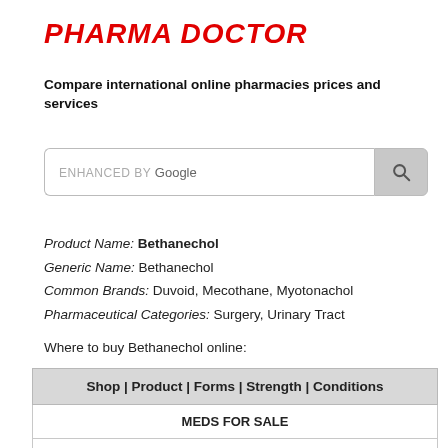PHARMA DOCTOR
Compare international online pharmacies prices and services
[Figure (other): Google custom search bar with search button]
Product Name: Bethanechol
Generic Name: Bethanechol
Common Brands: Duvoid, Mecothane, Myotonachol
Pharmaceutical Categories: Surgery, Urinary Tract
Where to buy Bethanechol online:
| Shop | Product | Forms | Strength | Conditions |
| --- |
| MEDS FOR SALE |
|  |